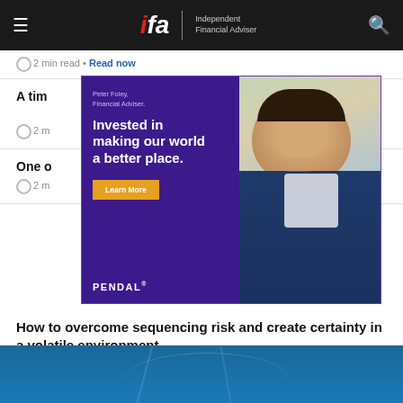ifa | Independent Financial Adviser
2 min read • Read now
A time... volatility...
2 m...
One o...
2 m...
[Figure (photo): Pendal advertisement featuring Peter Foley, Financial Adviser, with the message 'Invested in making our world a better place.' and a Learn More button, alongside a photo of a smiling man in a suit]
How to overcome sequencing risk and create certainty in a volatile environment
2 min read • Read now
[Figure (photo): Blue sky with thin tree branches visible at bottom of page]